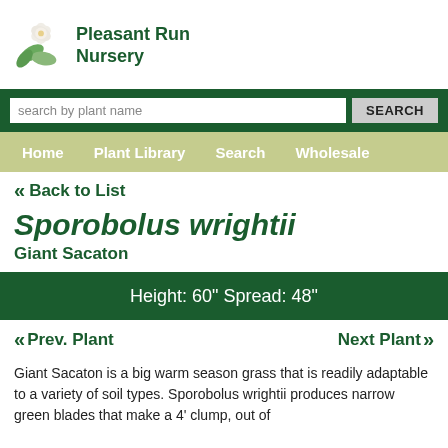Pleasant Run Nursery
search by plant name
Home   Plant Library   Search   Wholesale
« Back to List
Sporobolus wrightii
Giant Sacaton
Height: 60"  Spread: 48"
« Prev. Plant
Next Plant »
Giant Sacaton is a big warm season grass that is readily adaptable to a variety of soil types. Sporobolus wrightii produces narrow green blades that make a 4' clump, out of